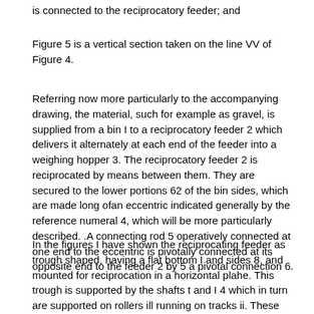is connected to the reciprocatory feeder; and
Figure 5 is a vertical section taken on the line VV of Figure 4.
Referring now more particularly to the accompanying drawing, the material, such for example as gravel, is supplied from a bin I to a reciprocatory feeder 2 which delivers it alternately at each end of the feeder into a weighing hopper 3. The reciprocatory feeder 2 is reciprocated by means between them. They are secured to the lower portions 62 of the bin sides, which are made long ofan eccentric indicated generally by the reference numeral 4, which will be more particularly described. .A connecting rod 5 operatively connected at one end to the eccentric is pivotally connected at its opposite end to the feeder 2 by 5 a pivotal connection 6.
In the figures I have shown the reciprocating feeder as trough shaped, having a flat bottom I and sides 8, and mounted for reciprocation in a horizontal plahe. This trough is supported by the shafts t and I 4 which in turn are supported on rollers ill running on tracks ii. These tracks are long enough to permit spacing the rollers far enough